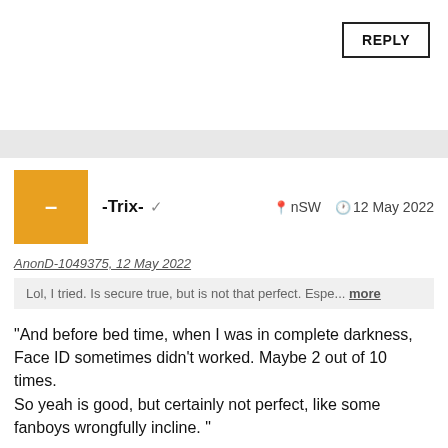REPLY
-Trix- ✓   nSW   12 May 2022
AnonD-1049375, 12 May 2022
Lol, I tried. Is secure true, but is not that perfect. Espe... more
"And before bed time, when I was in complete darkness, Face ID sometimes didn't worked. Maybe 2 out of 10 times.
So yeah is good, but certainly not perfect, like some fanboys wrongfully incline. "
For me this Sounds more like a user error, using Face ID in complete darkness have no difference than using it in normally. Maybe in darkness you just hold it too close to your face and that's why it didn't work as well. I have had no problem using it in darkness it works as good as it works other times.